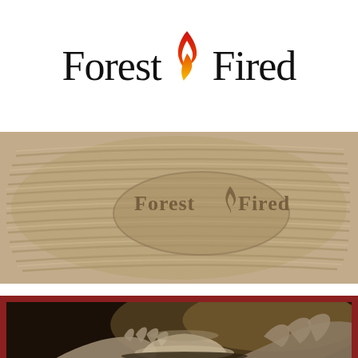[Figure (logo): Forest Fired logo with flame icon between the two words, rendered in black serif font with an orange-red flame graphic]
[Figure (photo): Close-up photograph of a circular clay pottery piece with ridged/combed texture and the Forest Fired logo impressed/stamped into the clay surface]
[Figure (photo): Photograph of clay-covered hands shaping a small bowl on a pottery wheel, with a dark background and warm tones, framed with a dark red border]